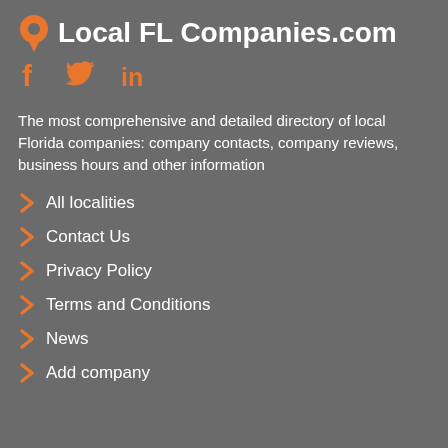Local FL Companies.com
[Figure (illustration): Social media icons: Facebook (f), Twitter (bird), LinkedIn (in) in orange]
The most comprehensive and detailed directory of local Florida companies: company contacts, company reviews, business hours and other information
All localities
Contact Us
Privacy Policy
Terms and Conditions
News
Add company